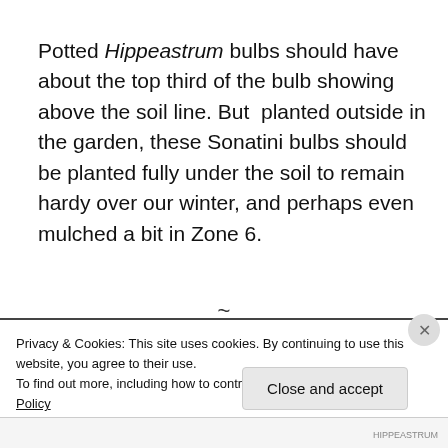Potted Hippeastrum bulbs should have about the top third of the bulb showing above the soil line. But planted outside in the garden, these Sonatini bulbs should be planted fully under the soil to remain hardy over our winter, and perhaps even mulched a bit in Zone 6.
~
Privacy & Cookies: This site uses cookies. By continuing to use this website, you agree to their use.
To find out more, including how to control cookies, see here: Cookie Policy
Close and accept